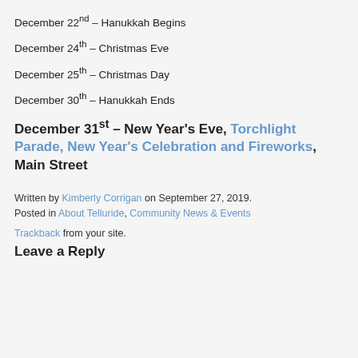December 22nd – Hanukkah Begins
December 24th – Christmas Eve
December 25th – Christmas Day
December 30th – Hanukkah Ends
December 31st – New Year's Eve, Torchlight Parade, New Year's Celebration and Fireworks, Main Street
Written by Kimberly Corrigan on September 27, 2019. Posted in About Telluride, Community News & Events
Trackback from your site.
Leave a Reply